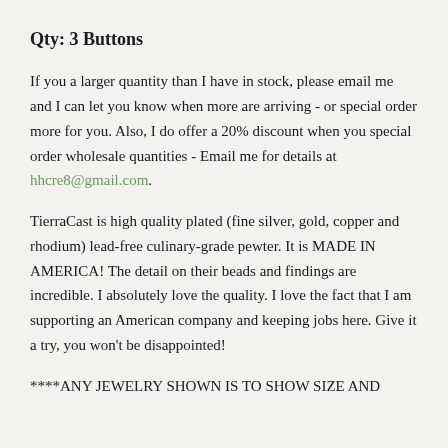Qty:  3 Buttons
If you a larger quantity than I have in stock, please email me and I can let you know when more are arriving - or special order more for you.  Also, I do offer a 20% discount when you special order wholesale quantities - Email me for details at hhcre8@gmail.com.
TierraCast is high quality plated (fine silver, gold, copper and rhodium) lead-free culinary-grade pewter. It is MADE IN AMERICA! The detail on their beads and findings are incredible. I absolutely love the quality. I love the fact that I am supporting an American company and keeping jobs here. Give it a try, you won't be disappointed!
****ANY JEWELRY SHOWN IS TO SHOW SIZE AND